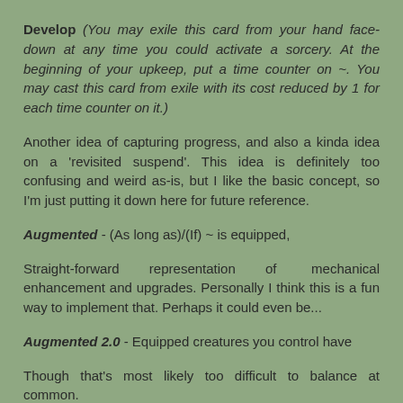Develop (You may exile this card from your hand face-down at any time you could activate a sorcery. At the beginning of your upkeep, put a time counter on ~. You may cast this card from exile with its cost reduced by 1 for each time counter on it.)
Another idea of capturing progress, and also a kinda idea on a 'revisited suspend'. This idea is definitely too confusing and weird as-is, but I like the basic concept, so I'm just putting it down here for future reference.
Augmented - (As long as)/(If) ~ is equipped,
Straight-forward representation of mechanical enhancement and upgrades. Personally I think this is a fun way to implement that. Perhaps it could even be...
Augmented 2.0 - Equipped creatures you control have
Though that's most likely too difficult to balance at common.